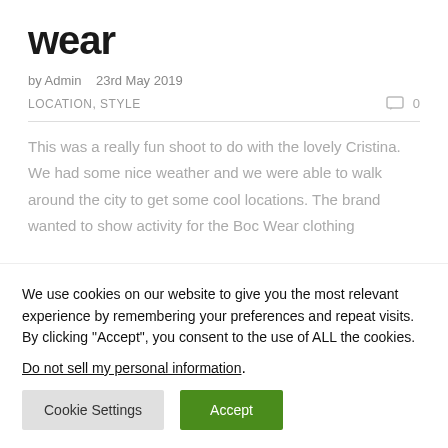wear
by Admin   23rd May 2019
LOCATION, STYLE   □ 0
This was a really fun shoot to do with the lovely Cristina. We had some nice weather and we were able to walk around the city to get some cool locations. The brand wanted to show activity for the Boc Wear clothing
We use cookies on our website to give you the most relevant experience by remembering your preferences and repeat visits. By clicking "Accept", you consent to the use of ALL the cookies.
Do not sell my personal information.